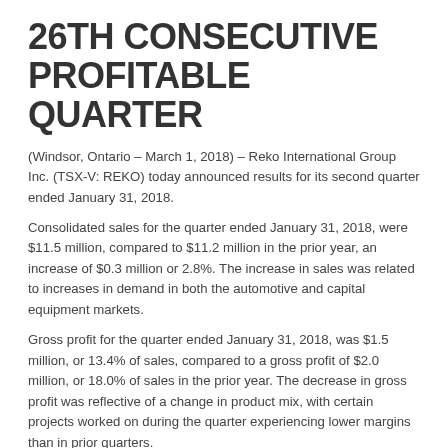26TH CONSECUTIVE PROFITABLE QUARTER
(Windsor, Ontario – March 1, 2018) – Reko International Group Inc. (TSX-V: REKO) today announced results for its second quarter ended January 31, 2018.
Consolidated sales for the quarter ended January 31, 2018, were $11.5 million, compared to $11.2 million in the prior year, an increase of $0.3 million or 2.8%. The increase in sales was related to increases in demand in both the automotive and capital equipment markets.
Gross profit for the quarter ended January 31, 2018, was $1.5 million, or 13.4% of sales, compared to a gross profit of $2.0 million, or 18.0% of sales in the prior year. The decrease in gross profit was reflective of a change in product mix, with certain projects worked on during the quarter experiencing lower margins than in prior quarters.
Selling and administrative expenses for the quarter ended